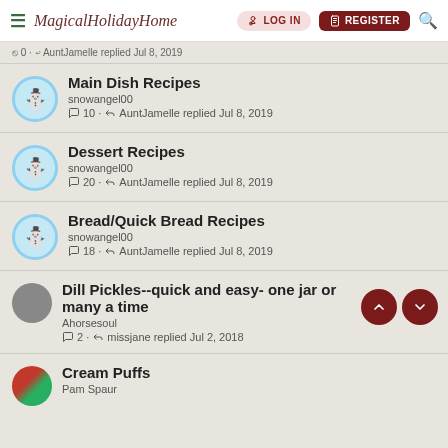MagicalHolidayHome — LOG IN | REGISTER
0 · AuntJamelle replied Jul 8, 2019
Main Dish Recipes — snowangel00 — 10 · AuntJamelle replied Jul 8, 2019
Dessert Recipes — snowangel00 — 20 · AuntJamelle replied Jul 8, 2019
Bread/Quick Bread Recipes — snowangel00 — 18 · AuntJamelle replied Jul 8, 2019
Dill Pickles--quick and easy- one jar or many a time — Ahorsesoul — 2 · missjane replied Jul 2, 2018
Cream Puffs — Pam Spaur